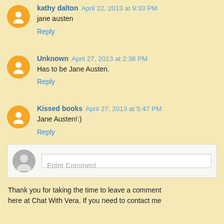kathy dalton April 22, 2013 at 9:33 PM
jane austen
Reply
Unknown April 27, 2013 at 2:38 PM
Has to be Jane Austen.
Reply
Kissed books April 27, 2013 at 5:47 PM
Jane Austen!:)
Reply
Enter Comment
Thank you for taking the time to leave a comment here at Chat With Vera. If you need to contact me